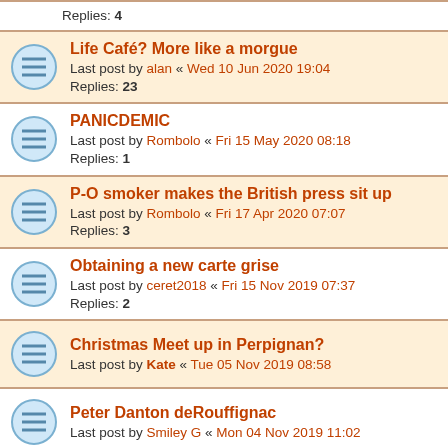Replies: 4
Life Café? More like a morgue — Last post by alan « Wed 10 Jun 2020 19:04 — Replies: 23
PANICDEMIC — Last post by Rombolo « Fri 15 May 2020 08:18 — Replies: 1
P-O smoker makes the British press sit up — Last post by Rombolo « Fri 17 Apr 2020 07:07 — Replies: 3
Obtaining a new carte grise — Last post by ceret2018 « Fri 15 Nov 2019 07:37 — Replies: 2
Christmas Meet up in Perpignan? — Last post by Kate « Tue 05 Nov 2019 08:58
Peter Danton deRouffignac — Last post by Smiley G « Mon 04 Nov 2019 11:02
The End of the Line? — Last post by Im knew to this « Fri 06 Sep 2019 14:20